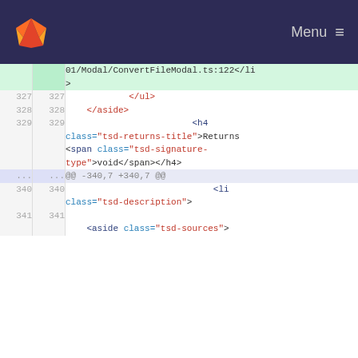GitLab Menu
01/Modal/ConvertFileModal.ts:122</li>
>
327  327    </ul>
328  328    </aside>
329  329    <h4 class="tsd-returns-title">Returns <span class="tsd-signature-type">void</span></h4>
... ...  @@ -340,7 +340,7 @@
340  340    <li class="tsd-description">
341  341    <aside class="tsd-sources">